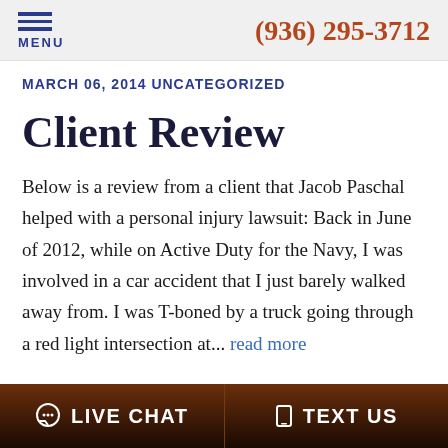MENU | (936) 295-3712
MARCH 06, 2014 UNCATEGORIZED
Client Review
Below is a review from a client that Jacob Paschal helped with a personal injury lawsuit: Back in June of 2012, while on Active Duty for the Navy, I was involved in a car accident that I just barely walked away from. I was T-boned by a truck going through a red light intersection at... read more
LIVE CHAT | TEXT US